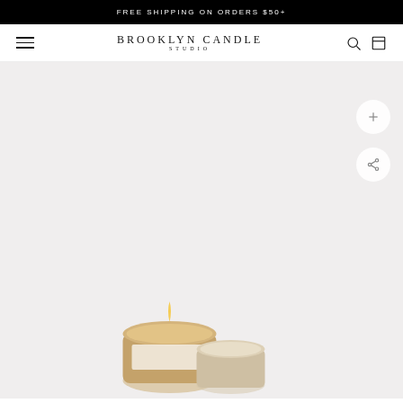FREE SHIPPING ON ORDERS $50+
BROOKLYN CANDLE STUDIO
[Figure (screenshot): E-commerce product page for Brooklyn Candle Studio showing a candle product photo partially visible at the bottom, with a plus button and share button on the right side, over a light gray background.]